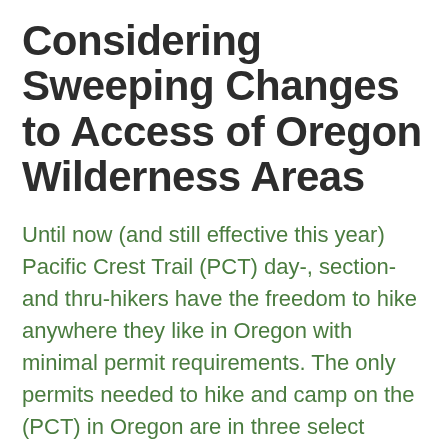Considering Sweeping Changes to Access of Oregon Wilderness Areas
Until now (and still effective this year) Pacific Crest Trail (PCT) day-, section- and thru-hikers have the freedom to hike anywhere they like in Oregon with minimal permit requirements. The only permits needed to hike and camp on the (PCT) in Oregon are in three select locations: Crater Lake National Park, Shale and Pamelia lakes, and the Obsidian limited entry areas. The latter two even grant pass-thru rights to PCT hikers (permits still required for camping). Next year, that may come to an end, as the Willamette and Deschutes National Forests are